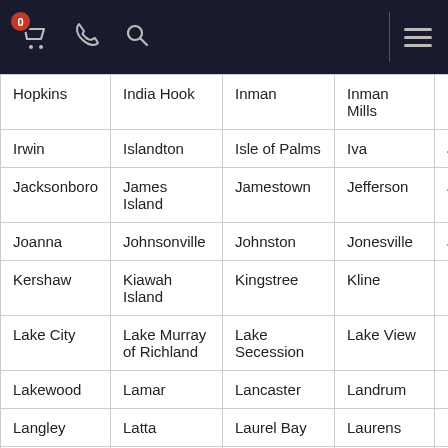Navigation bar with cart (0), phone, search icons and hamburger menu
| Hopkins | India Hook | Inman | Inman Mills | Irmo |
| Irwin | Islandton | Isle of Palms | Iva | Jack |
| Jacksonboro | James Island | Jamestown | Jefferson | Jenk |
| Joanna | Johnsonville | Johnston | Jonesville | Juds |
| Kershaw | Kiawah Island | Kingstree | Kline | Lads |
| Lake City | Lake Murray of Richland | Lake Secession | Lake View | Lake |
| Lakewood | Lamar | Lancaster | Landrum | Lane |
| Langley | Latta | Laurel Bay | Laurens | Less |
| Lexington | Liberty | Lincolnville | Little | Littl |